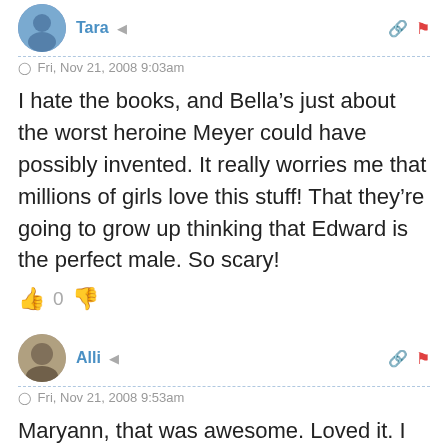Tara · Fri, Nov 21, 2008 9:03am
I hate the books, and Bella’s just about the worst heroine Meyer could have possibly invented. It really worries me that millions of girls love this stuff! That they’re going to grow up thinking that Edward is the perfect male. So scary!
0
Alli · Fri, Nov 21, 2008 9:53am
Maryann, that was awesome. Loved it. I was actually expecting you to touch on some of the anti-feminist, abusive